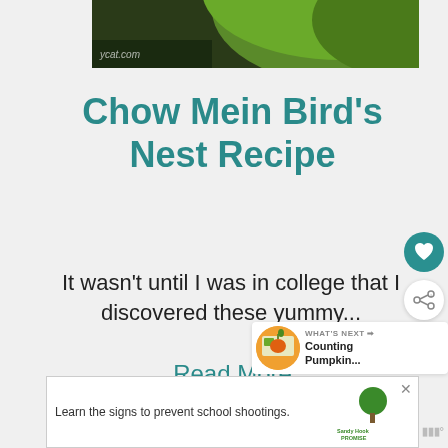[Figure (photo): Close-up photo of a green plate or bowl on a dark surface with website watermark 'ycat.com']
Chow Mein Bird's Nest Recipe
It wasn't until I was in college that I discovered these yummy...
Read More
[Figure (infographic): WHAT'S NEXT arrow - Counting Pumpkin... thumbnail with pumpkin image]
[Figure (screenshot): Advertisement banner: Learn the signs to prevent school shootings. Sandy Hook Promise logo with tree graphic]